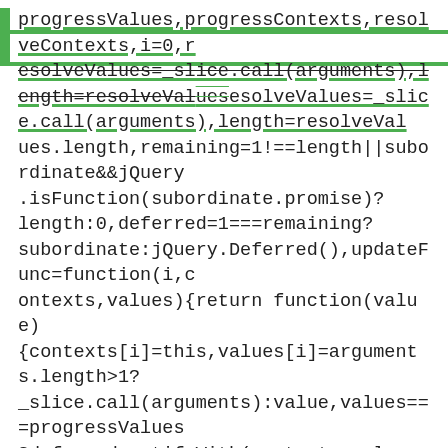progressValues,progressContexts,resolveContexts,i=0,resolveValues=_slice.call(arguments),length=resolveValues.length,remaining=1!==length||subordinate&&jQuery.isFunction(subordinate.promise)?length:0,deferred=1===remaining?subordinate:jQuery.Deferred(),updateFunc=function(i,contexts,values){return function(value){contexts[i]=this,values[i]=arguments.length>1?_slice.call(arguments):value,values===progressValues?deferred.notifyWith(contexts,values):--remaining||deferred.resolveWith(contexts,values)};if(length>1)for(progressValues=new Array(length),progressContexts=new Array(length),resolveContexts=new Array(length);length>i;i++)resolveValues[i]&&jQuery.isFunction(resolveValues[i].promise)?resolveValues[i].promise().progress(updateFunc(i,progressContexts,progressValues)).done(updateFunc(i,resolveContexts,resolveValues)).fail(deferred.reject):--